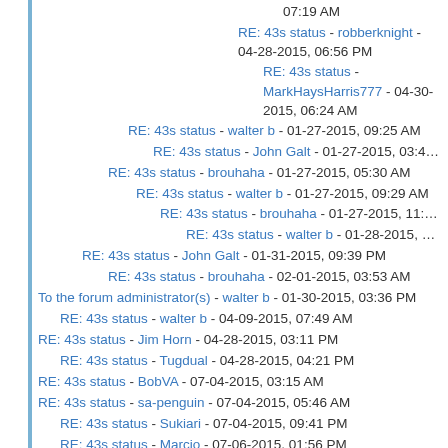07:19 AM
RE: 43s status - robberknight - 04-28-2015, 06:56 PM
RE: 43s status - MarkHaysHarris777 - 04-30-2015, 06:24 AM
RE: 43s status - walter b - 01-27-2015, 09:25 AM
RE: 43s status - John Galt - 01-27-2015, 03:43 PM
RE: 43s status - brouhaha - 01-27-2015, 05:30 AM
RE: 43s status - walter b - 01-27-2015, 09:29 AM
RE: 43s status - brouhaha - 01-27-2015, 11:58 PM
RE: 43s status - walter b - 01-28-2015, 02:37 AM
RE: 43s status - John Galt - 01-31-2015, 09:39 PM
RE: 43s status - brouhaha - 02-01-2015, 03:53 AM
To the forum administrator(s) - walter b - 01-30-2015, 03:36 PM
RE: 43s status - walter b - 04-09-2015, 07:49 AM
RE: 43s status - Jim Horn - 04-28-2015, 03:11 PM
RE: 43s status - Tugdual - 04-28-2015, 04:21 PM
RE: 43s status - BobVA - 07-04-2015, 03:15 AM
RE: 43s status - sa-penguin - 07-04-2015, 05:46 AM
RE: 43s status - Sukiari - 07-04-2015, 09:41 PM
RE: 43s status - Marcio - 07-06-2015, 01:56 PM
RE: 43s status - d b - 07-06-2015, 02:47 PM
RE: 43s status - Marcio - 07-06-2015, 06:31 PM
RE: 43s status - Jake Schwartz - 07-06-2015, 07:37 PM
RE: 43s status - Jake Schwartz - 07-06-2015, 01:14 PM